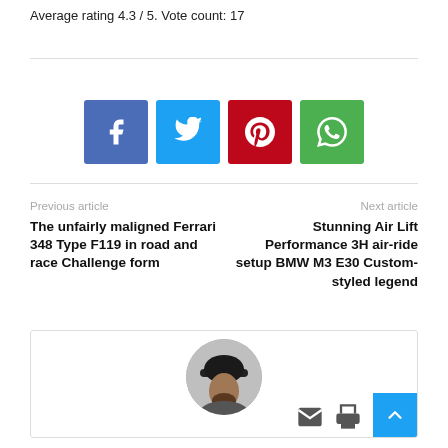Average rating 4.3 / 5. Vote count: 17
[Figure (infographic): Four social share buttons: Facebook (blue), Twitter (cyan), Pinterest (red), WhatsApp (green), each with white icon on colored square background]
Previous article
The unfairly maligned Ferrari 348 Type F119 in road and race Challenge form
Next article
Stunning Air Lift Performance 3H air-ride setup BMW M3 E30 Custom-styled legend
[Figure (photo): Author card with circular avatar photo of a person wearing a black cap, partially visible, with email and print icons at bottom right and a blue back-to-top arrow button]